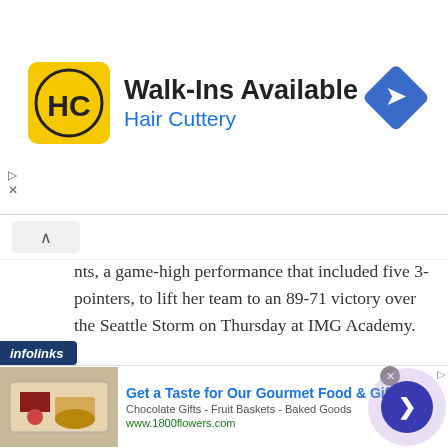[Figure (screenshot): Hair Cuttery advertisement banner with yellow HC logo, text 'Walk-Ins Available' and 'Hair Cuttery' in blue, navigation diamond icon top right]
nts, a game-high performance that included five 3-pointers, to lift her team to an 89-71 victory over the Seattle Storm on Thursday at IMG Academy.
Share this:
[Figure (screenshot): Blue Tweet button with Twitter bird icon]
Like this:
Loading...
[Figure (screenshot): Bottom advertisement: 1800flowers gourmet food gift basket ad with text 'Get a Taste for Our Gourmet Food & Gift', 'Chocolate Gifts - Fruit Baskets - Baked Goods', 'www.1800flowers.com']